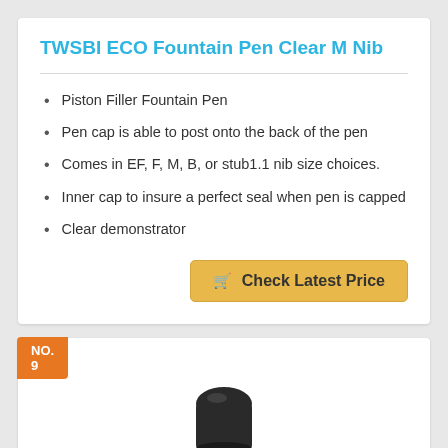TWSBI ECO Fountain Pen Clear M Nib
Piston Filler Fountain Pen
Pen cap is able to post onto the back of the pen
Comes in EF, F, M, B, or stub1.1 nib size choices.
Inner cap to insure a perfect seal when pen is capped
Clear demonstrator
Check Latest Price
NO. 9
[Figure (photo): Partial view of a pen cap or fountain pen component, dark colored, shown at bottom of card]